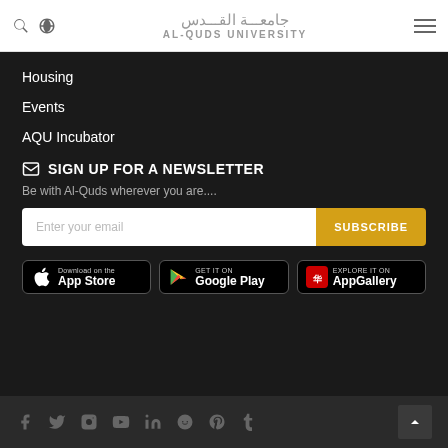جامعـــة القـــدس AL-QUDS UNIVERSITY
Housing
Events
AQU Incubator
✉ SIGN UP FOR A NEWSLETTER
Be with Al-Quds wherever you are....
Enter your email | SUBSCRIBE
[Figure (screenshot): App store badges: Download on the App Store, GET IT ON Google Play, EXPLORE IT ON AppGallery]
Social media icons: Facebook, Twitter, Instagram, YouTube, LinkedIn, Reddit, Pinterest, Tumblr. Back to top button.